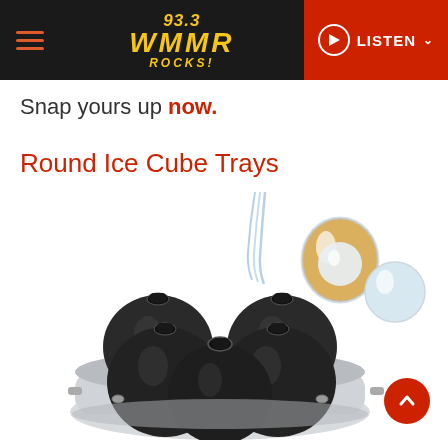93.3 WMMR ROCKS! | LISTEN
Snap yours up now.
Round Ice Cube Trays
[Figure (photo): Product photo of a black silicone round ice cube tray mold with 4 spherical cavities, water being poured in from above. In upper right, a glass of whiskey with a round ice ball next to it.]